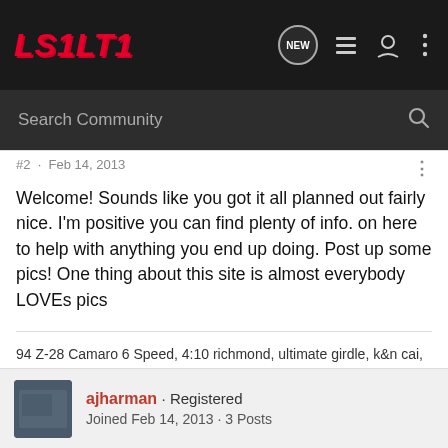LS1LT1
#2 · Feb 14, 2013
Welcome! Sounds like you got it all planned out fairly nice. I'm positive you can find plenty of info. on here to help with anything you end up doing. Post up some pics! One thing about this site is almost everybody LOVEs pics
94 Z-28 Camaro 6 Speed, 4:10 richmond, ultimate girdle, k&n cai, msd rotor and cap , 8mm wires, Flowmaster, 160 thermostat, m55A
ajharman · Registered
Joined Feb 14, 2013 · 3 Posts